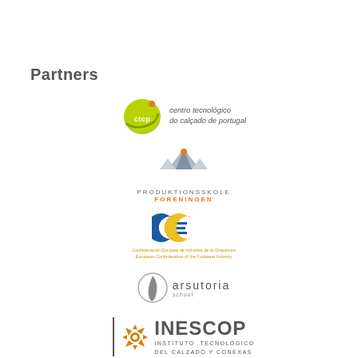Partners
[Figure (logo): CTCP logo - centro tecnológico do calçado de portugal]
[Figure (logo): Produktionsskole Foreningen logo with mountain/pyramid graphic]
[Figure (logo): CEC logo - European Confederation of the Footwear Industry]
[Figure (logo): Arsutoria school logo with bird/feather graphic]
[Figure (logo): INESCOP logo - Instituto Tecnologico del Calzado y Conexas]